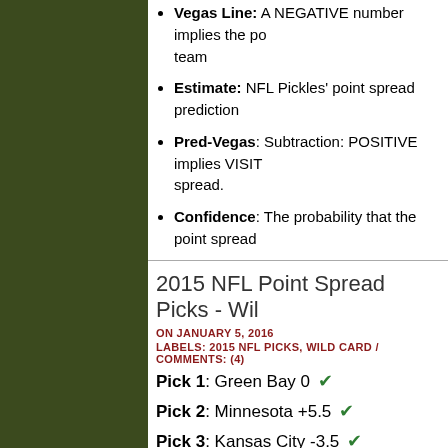Vegas Line: A NEGATIVE number implies the po... team
Estimate: NFL Pickles' point spread prediction
Pred-Vegas: Subtraction: POSITIVE implies VISIT... spread.
Confidence: The probability that the point spread...
2015 NFL Point Spread Picks - Wil
ON JANUARY 5, 2016
LABELS: 2015 NFL PICKS, WILD CARD / COMMENTS: (4)
Pick 1: Green Bay 0 ✔
Pick 2: Minnesota +5.5 ✔
Pick 3: Kansas City -3.5 ✔
The playoffs are here! I'm excited to see great g... This week the model is picking Packers, Vikings...